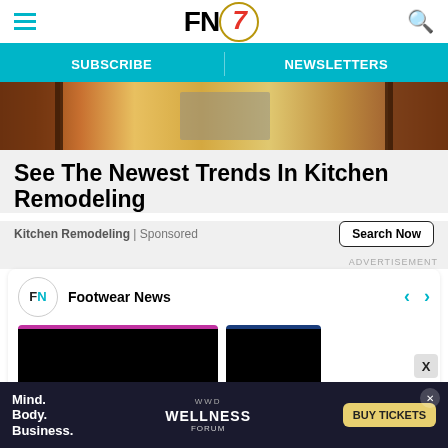FN7 — Footwear News header with hamburger menu and search icon
SUBSCRIBE | NEWSLETTERS navigation bar
[Figure (photo): Kitchen interior photo showing wooden cabinets and hardwood floor]
See The Newest Trends In Kitchen Remodeling
Kitchen Remodeling | Sponsored
Search Now
ADVERTISEMENT
[Figure (screenshot): Footwear News widget showing FN logo, navigation arrows, and two dark video card thumbnails]
[Figure (screenshot): Bottom advertisement banner: Mind. Body. Business. — WWD WELLNESS FORUM — BUY TICKETS]